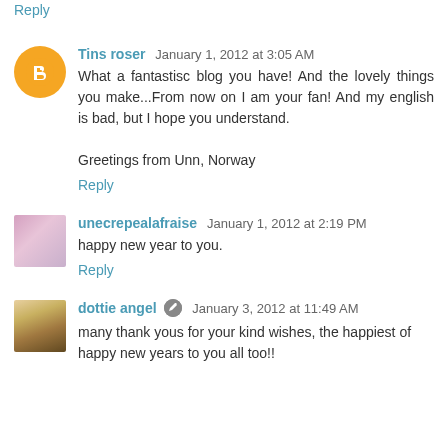Reply
Tins roser  January 1, 2012 at 3:05 AM
What a fantastisc blog you have! And the lovely things you make...From now on I am your fan! And my english is bad, but I hope you understand.

Greetings from Unn, Norway
Reply
unecrepealafraise  January 1, 2012 at 2:19 PM
happy new year to you.
Reply
dottie angel  January 3, 2012 at 11:49 AM
many thank yous for your kind wishes, the happiest of happy new years to you all too!!